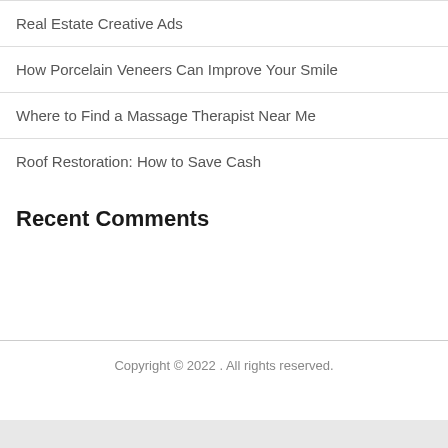Real Estate Creative Ads
How Porcelain Veneers Can Improve Your Smile
Where to Find a Massage Therapist Near Me
Roof Restoration: How to Save Cash
Recent Comments
Copyright © 2022 . All rights reserved.